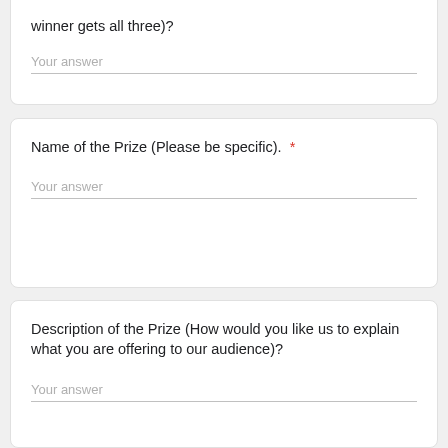winner gets all three)?
Your answer
Name of the Prize (Please be specific). *
Your answer
Description of the Prize (How would you like us to explain what you are offering to our audience)?
Your answer